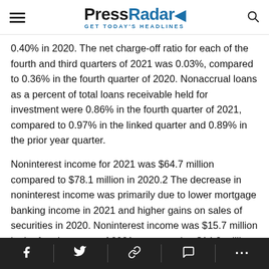PressRadar GET TODAY'S HEADLINES
0.40% in 2020. The net charge-off ratio for each of the fourth and third quarters of 2021 was 0.03%, compared to 0.36% in the fourth quarter of 2020. Nonaccrual loans as a percent of total loans receivable held for investment were 0.86% in the fourth quarter of 2021, compared to 0.97% in the linked quarter and 0.89% in the prior year quarter.
Noninterest income for 2021 was $64.7 million compared to $78.1 million in 2020.2 The decrease in noninterest income was primarily due to lower mortgage banking income in 2021 and higher gains on sales of securities in 2020. Noninterest income was $15.7 million in the fourth quarter of 2021, compared to $14.8 million in the linked
f  twitter  link  comment  ...